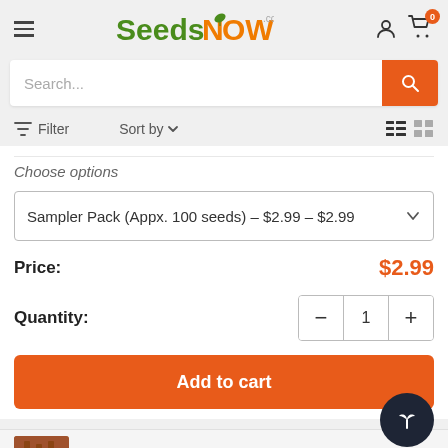[Figure (screenshot): SeedsNow.com website header with hamburger menu, logo, user icon, and cart icon with 0 badge]
Search...
Filter  Sort by
Choose options
Sampler Pack (Appx. 100 seeds) – $2.99 – $2.99
Price: $2.99
Quantity: 1
Add to cart
9 Reviews